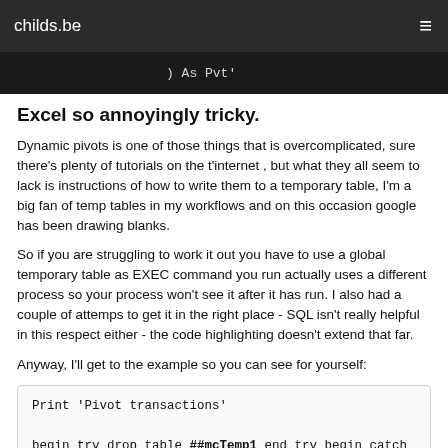childs.be
[Figure (screenshot): Dark code editor banner showing ') As Pvt']
Excel so annoyingly tricky.
Dynamic pivots is one of those things that is overcomplicated, sure there's plenty of tutorials on the t'internet , but what they all seem to lack is instructions of how to write them to a temporary table, I'm a big fan of temp tables in my workflows and on this occasion google has been drawing blanks.
So if you are struggling to work it out you have to use a global temporary table as EXEC command you run actually uses a different process so your process won't see it after it has run. I also had a couple of attemps to get it in the right place - SQL isn't really helpful in this respect either - the code highlighting doesn't extend that far.
Anyway, I'll get to the example so you can see for yourself:
Print 'Pivot transactions'

begin try drop table ##mcTemp1 end try begin catch